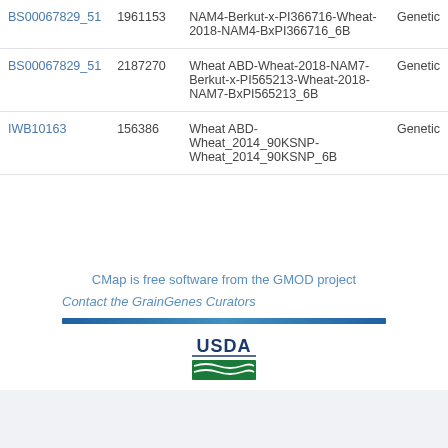| Marker | Position | Map | Type |
| --- | --- | --- | --- |
| BS00067829_51 | 1961153 | Wheat ABD-Wheat-2018-NAM4-Berkut-x-PI366716-Wheat-2018-NAM4-BxPI366716_6B | Genetic |
| BS00067829_51 | 2187270 | Wheat ABD-Wheat-2018-NAM7-Berkut-x-PI565213-Wheat-2018-NAM7-BxPI565213_6B | Genetic |
| IWB10163 | 156386 | Wheat ABD-Wheat_2014_90KSNP-Wheat_2014_90KSNP_6B | Genetic |
CMap is free software from the GMOD project
Contact the GrainGenes Curators
[Figure (other): USDA logo - shield shaped logo with green field and text USDA]
GrainGenes is a product of the US Department of Agriculture.